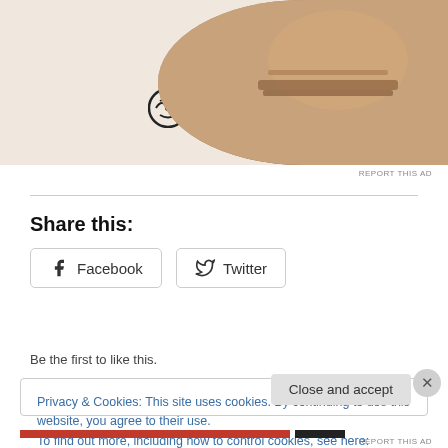[Figure (photo): WordPress logo and laptop photo on beige background]
Share this:
[Figure (screenshot): Facebook and Twitter share buttons]
[Figure (screenshot): Like button (star icon)]
Be the first to like this.
Privacy & Cookies: This site uses cookies. By continuing to use this website, you agree to their use. To find out more, including how to control cookies, see here: Cookie Policy
Close and accept